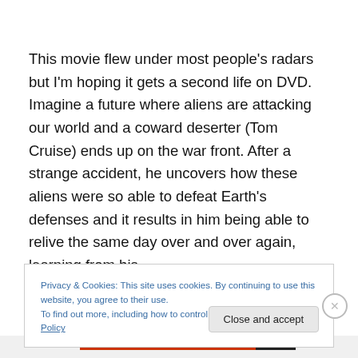This movie flew under most people's radars but I'm hoping it gets a second life on DVD. Imagine a future where aliens are attacking our world and a coward deserter (Tom Cruise) ends up on the war front. After a strange accident, he uncovers how these aliens were so able to defeat Earth's defenses and it results in him being able to relive the same day over and over again, learning from his
Privacy & Cookies: This site uses cookies. By continuing to use this website, you agree to their use.
To find out more, including how to control cookies, see here: Cookie Policy